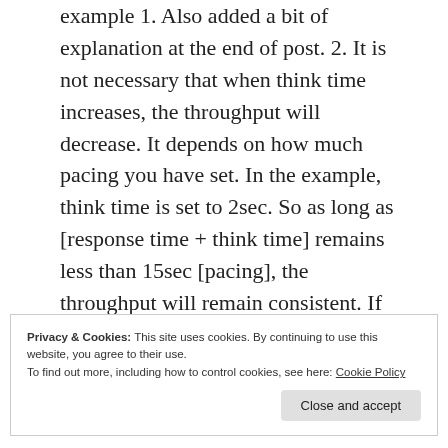example 1. Also added a bit of explanation at the end of post. 2. It is not necessary that when think time increases, the throughput will decrease. It depends on how much pacing you have set. In the example, think time is set to 2sec. So as long as [response time + think time] remains less than 15sec [pacing], the throughput will remain consistent. If think time was set to
Privacy & Cookies: This site uses cookies. By continuing to use this website, you agree to their use.
To find out more, including how to control cookies, see here: Cookie Policy